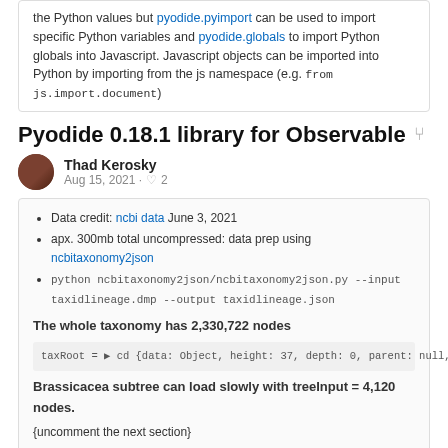the Python values but pyodide.pyimport can be used to import specific Python variables and pyodide.globals to import Python globals into Javascript. Javascript objects can be imported into Python by importing from the js namespace (e.g. from js.import.document)
Pyodide 0.18.1 library for Observable
Thad Kerosky
Aug 15, 2021 · ♡ 2
Data credit: ncbi data June 3, 2021
apx. 300mb total uncompressed: data prep using ncbitaxonomy2json
python ncbitaxonomy2json/ncbitaxonomy2json.py --input taxidlineage.dmp --output taxidlineage.json
The whole taxonomy has 2,330,722 nodes
taxRoot = ▶ cd {data: Object, height: 37, depth: 0, parent: null, children: Array(5)}
Brassicacea subtree can load slowly with treeInput = 4,120 nodes.
{uncomment the next section}
// viewof selectedBrassicacea = treeInput(brassicaceaTree, {
//   name: (d) =>
//     html`<code style=$({{
//       color: `hsl(${Math.random() * 360}, 90%, 50%)`
//     }})>${d.data.match.name}</code>`,
//   open: 1
// })
Euphyllophyte subtree is too big to load with treeInput = 208,875 nodes.
Phylogenic Tree Hierarchy Data
Thad Kerosky